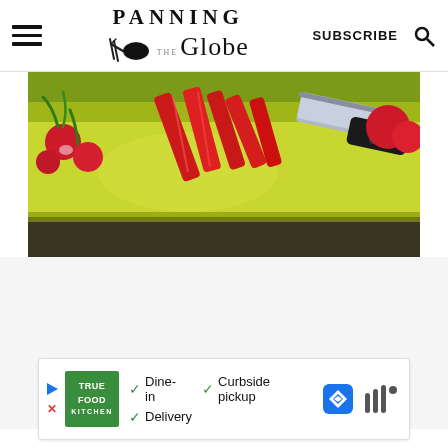Panning The Globe | SUBSCRIBE
[Figure (photo): Close-up of a yellow cutting board with red radishes and sliced red vegetables, and a chef's knife resting on the board]
[Figure (infographic): Advertisement for True Food Kitchen showing logo and options: Dine-in, Curbside pickup, Delivery with checkmarks, a map/navigation icon, and a waveform icon]